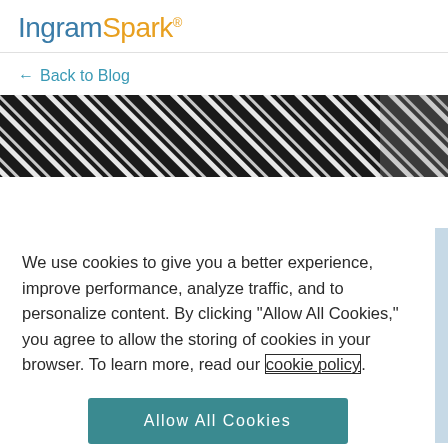IngramSpark®
← Back to Blog
[Figure (photo): Close-up photo of a barcode with diagonal black and white stripes filling the image]
We use cookies to give you a better experience, improve performance, analyze traffic, and to personalize content. By clicking "Allow All Cookies," you agree to allow the storing of cookies in your browser. To learn more, read our cookie policy.
Allow All Cookies
Cookie Preferences